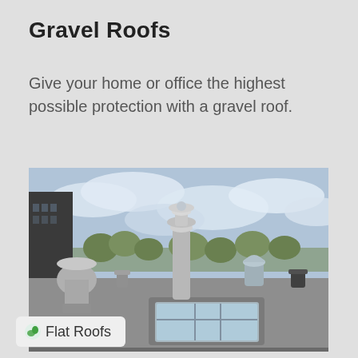Gravel Roofs
Give your home or office the highest possible protection with a gravel roof.
[Figure (photo): A flat gravel roof with HVAC ventilation pipes, a skylight, and mechanical equipment visible against a cloudy sky.]
Flat Roofs